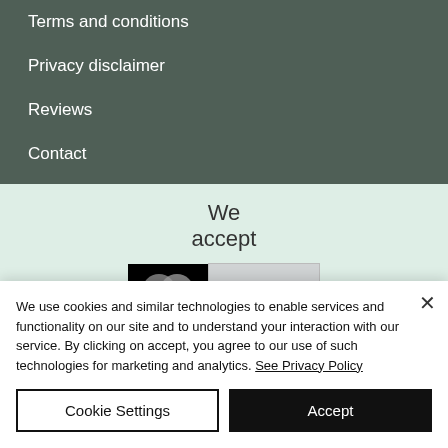Terms and conditions
Privacy disclaimer
Reviews
Contact
We accept
[Figure (other): Payment logos: Mastercard and Visa accepted]
We use cookies and similar technologies to enable services and functionality on our site and to understand your interaction with our service. By clicking on accept, you agree to our use of such technologies for marketing and analytics. See Privacy Policy
Cookie Settings
Accept